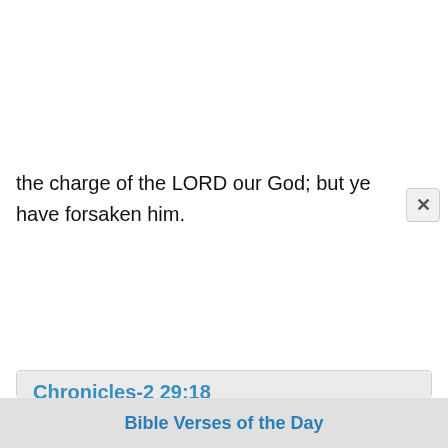the charge of the LORD our God; but ye have forsaken him.
Chronicles-2 29:18
Then they went in to Hezekiah the king, and said, We have cleansed all the house of the LORD, and the altar of burnt offering, with all the vessels thereof, and the showbread table, with all the vessels thereof.
Bible Verses of the Day